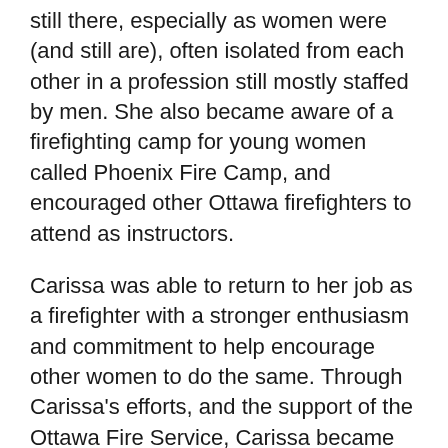still there, especially as women were (and still are) often isolated from each other in a profession still mostly staffed by men. She also became aware of a firefighting camp for young women called Phoenix Fire Camp, and encouraged other Ottawa firefighters to attend as instructors.
Carissa was able to return to her job as a firefighter with a stronger enthusiasm and commitment to help encourage other women to do the same. Through Carissa's efforts, and the support of the Ottawa Fire Service, Carissa became part of the driving force to establish and develop a similar camp in Ottawa, now ten years strong and known as Camp FFIT (Female Firefighters in Training). Camp FFIT was one of the first recruitment initiatives of its kind to be held in Canada and helped lead to the creation of several other camps across the country.